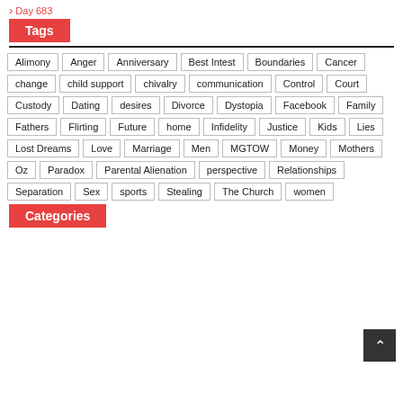Day 683
Tags
Alimony
Anger
Anniversary
Best Intest
Boundaries
Cancer
change
child support
chivalry
communication
Control
Court
Custody
Dating
desires
Divorce
Dystopia
Facebook
Family
Fathers
Flirting
Future
home
Infidelity
Justice
Kids
Lies
Lost Dreams
Love
Marriage
Men
MGTOW
Money
Mothers
Oz
Paradox
Parental Alienation
perspective
Relationships
Separation
Sex
sports
Stealing
The Church
women
Categories